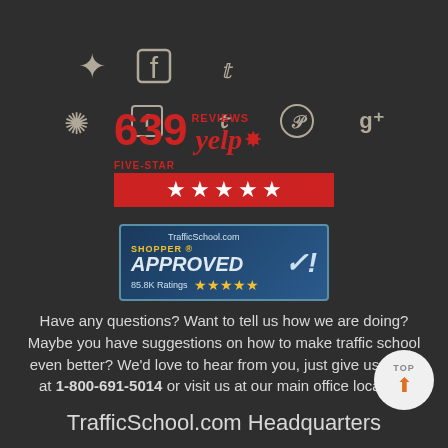[Figure (infographic): Social media icons row: Yelp, Facebook, Twitter, Pinterest, Google+]
[Figure (logo): Yelp badge: 639 Five-Star Reviews with red star rating bar]
[Figure (logo): TrafficSchool.com Shopper Approved badge with 85.8K ratings and 5 stars]
Have any questions? Want to tell us how we are doing? Maybe you have suggestions on how to make traffic school even better? We'd love to hear from you, just give us a call at 1-800-691-5014 or visit us at our main office location:
TrafficSchool.com Headquarters